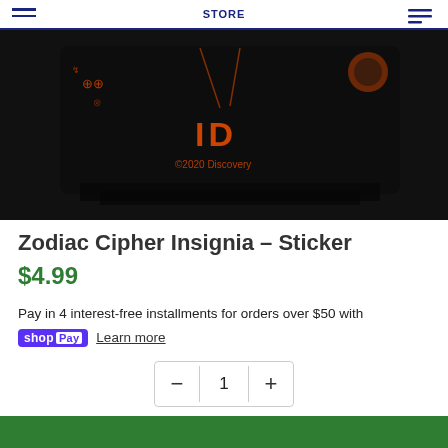STORE
[Figure (photo): Product photo of a black sticker with orange cipher/zodiac insignia patterns and the letters ID, with copyright 2020 Discovery text]
Zodiac Cipher Insignia – Sticker
$4.99
Pay in 4 interest-free installments for orders over $50 with
shopPay  Learn more
- 1 +